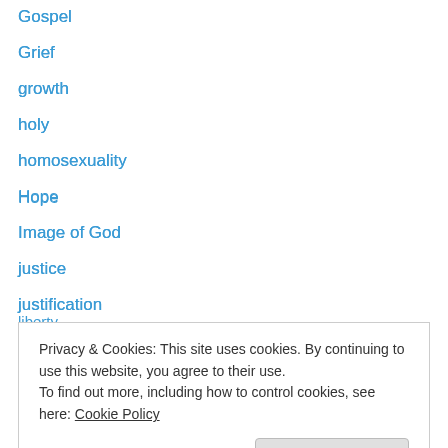Gospel
Grief
growth
holy
homosexuality
Hope
Image of God
justice
justification
liberty
Light
Love
Marriage
Privacy & Cookies: This site uses cookies. By continuing to use this website, you agree to their use. To find out more, including how to control cookies, see here: Cookie Policy
Nature